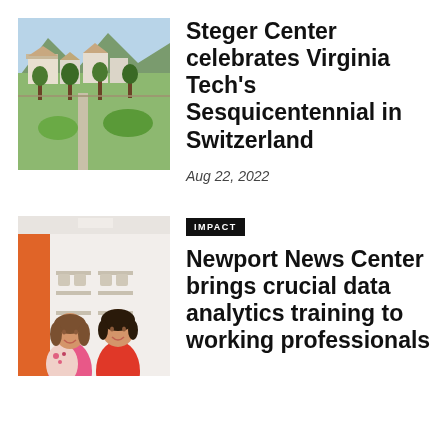[Figure (photo): Aerial view of the Steger Center in Switzerland, showing green trees, a courtyard, and mountain backdrop]
Steger Center celebrates Virginia Tech's Sesquicentennial in Switzerland
Aug 22, 2022
[Figure (photo): Two women smiling and posing together in a classroom with orange wall and tables in background at Newport News Center]
IMPACT
Newport News Center brings crucial data analytics training to working professionals